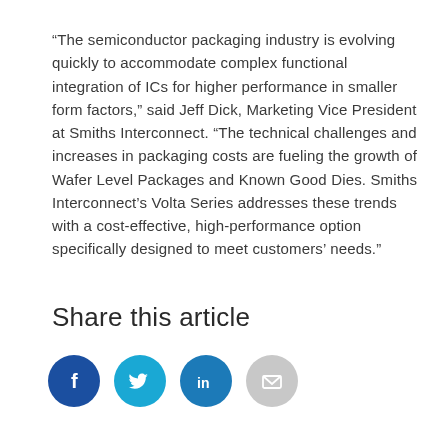“The semiconductor packaging industry is evolving quickly to accommodate complex functional integration of ICs for higher performance in smaller form factors,” said Jeff Dick, Marketing Vice President at Smiths Interconnect. “The technical challenges and increases in packaging costs are fueling the growth of Wafer Level Packages and Known Good Dies. Smiths Interconnect’s Volta Series addresses these trends with a cost-effective, high-performance option specifically designed to meet customers’ needs.”
Share this article
[Figure (infographic): Social sharing icons: Facebook (dark blue circle with f), Twitter (teal circle with bird), LinkedIn (blue circle with in), Email (gray circle with envelope)]